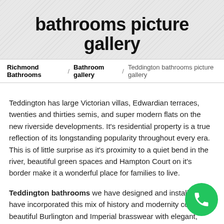bathrooms picture gallery
Richmond Bathrooms > Bathroom gallery > Teddington bathrooms picture gallery
Teddington has large Victorian villas, Edwardian terraces, twenties and thirties semis, and super modern flats on the new riverside developments. It's residential property is a true reflection of its longstanding popularity throughout every era.  This is of little surprise as it's proximity to a quiet bend in the river, beautiful green spaces and Hampton Court on it's border make it a wonderful place for families to live.
Teddington bathrooms we have designed and installed have incorporated this mix of history and modernity combining beautiful Burlington and Imperial brasswear with elegant, modern ceramics and shower and bath screens.  We have combined the practical with the elegant to create beautiful bathrooms that are also durable and